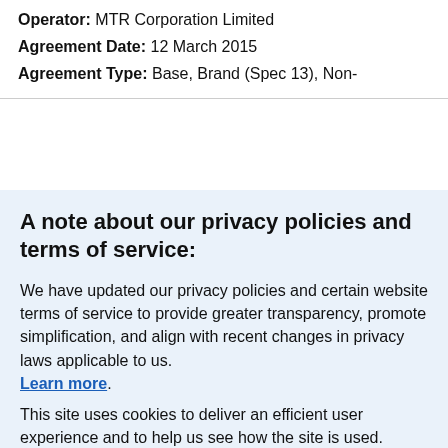Operator: MTR Corporation Limited
Agreement Date: 12 March 2015
Agreement Type: Base, Brand (Spec 13), Non-
A note about our privacy policies and terms of service:
We have updated our privacy policies and certain website terms of service to provide greater transparency, promote simplification, and align with recent changes in privacy laws applicable to us. Learn more.
This site uses cookies to deliver an efficient user experience and to help us see how the site is used. Learn more. OK